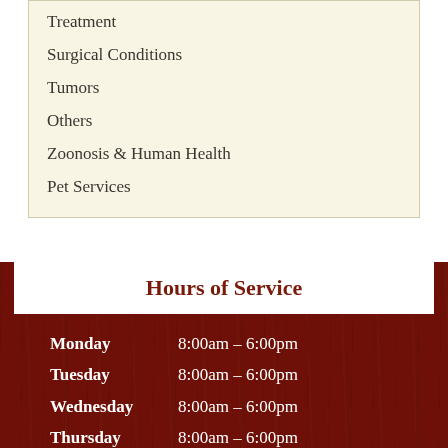Treatment
Surgical Conditions
Tumors
Others
Zoonosis & Human Health
Pet Services
Hours of Service
| Day | Hours |
| --- | --- |
| Monday | 8:00am – 6:00pm |
| Tuesday | 8:00am – 6:00pm |
| Wednesday | 8:00am – 6:00pm |
| Thursday | 8:00am – 6:00pm |
| Friday | 8:00am – 6:00pm |
| Saturday | 9:00am – 12:00pm |
| Sunday | Closed |